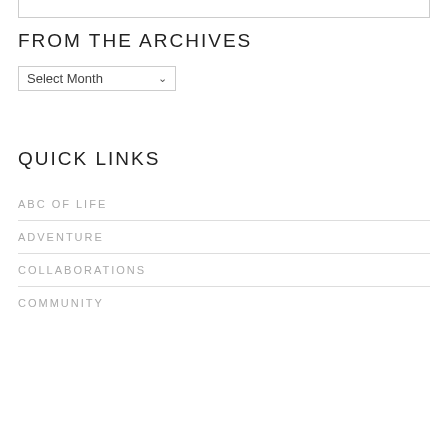FROM THE ARCHIVES
Select Month
QUICK LINKS
ABC OF LIFE
ADVENTURE
COLLABORATIONS
COMMUNITY